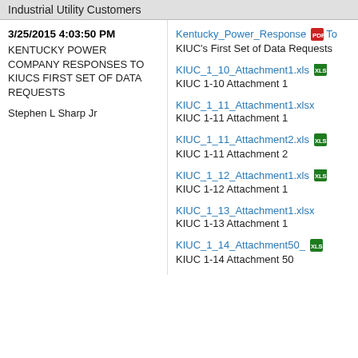Industrial Utility Customers
3/25/2015 4:03:50 PM
KENTUCKY POWER COMPANY RESPONSES TO KIUCS FIRST SET OF DATA REQUESTS
Stephen L Sharp Jr
Kentucky_Power_Response... [PDF icon]
KIUC's First Set of Data Requests
KIUC_1_10_Attachment1.xls [XLS icon]
KIUC 1-10 Attachment 1
KIUC_1_11_Attachment1.xlsx
KIUC 1-11 Attachment 1
KIUC_1_11_Attachment2.xls [XLS icon]
KIUC 1-11 Attachment 2
KIUC_1_12_Attachment1.xls [XLS icon]
KIUC 1-12 Attachment 1
KIUC_1_13_Attachment1.xlsx
KIUC 1-13 Attachment 1
KIUC_1_14_Attachment50_... [XLS icon]
KIUC 1-14 Attachment 50